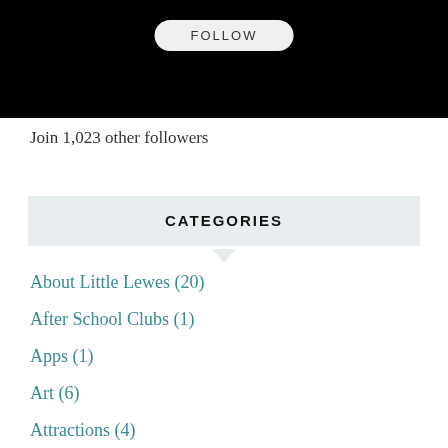[Figure (other): Black banner with a FOLLOW button in a pill/capsule shape]
Join 1,023 other followers
CATEGORIES
About Little Lewes (20)
After School Clubs (1)
Apps (1)
Art (6)
Attractions (4)
Beaches (15)
Best for 3- to 5-year-olds (16)